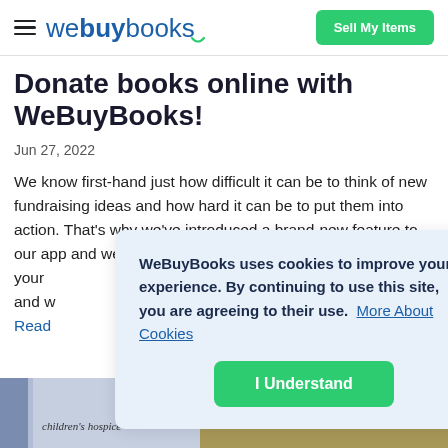webuybooks | Sell My Items
Donate books online with WeBuyBooks!
Jun 27, 2022
We know first-hand just how difficult it can be to think of new fundraising ideas and how hard it can be to put them into action. That's why we've introduced a brand-new feature to our app and website that allows you to donate to a charity of your [choice and we'll make a donation and w... Read more]
WeBuyBooks uses cookies to improve your experience. By continuing to use this site, you are agreeing to their use.  More About Cookies
I Understand
[Figure (screenshot): Bottom strip showing a children's hospice logo with a book/bag icon on the left, and an indoor photo on the right.]